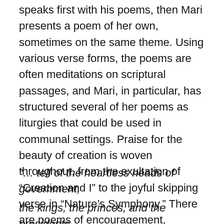speaks first with his poems, then Mari presents a poem of her own, sometimes on the same theme. Using various verse forms, the poems are often meditations on scriptural passages, and Mari, in particular, has structured several of her poems as liturgies that could be used in communal settings. Praise for the beauty of creation is woven throughout, from the exultation of “Creation and I” to the joyful skipping verse in “Nature’s Symphony.” There are poems of encouragement, motivating the reader to use their God-given gifts and to generate ideas that will further the Kingdom on earth. One of the most powerful selections is “Dead Soldier,” which Andrew addressed to the young men in their graves, saying, in part:
“… tell of the heartless heads of government,
the kings, the princes, and the presidents,